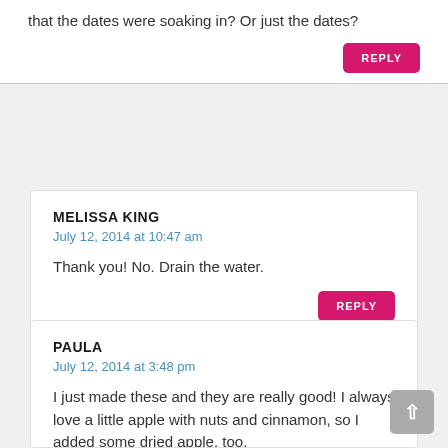that the dates were soaking in? Or just the dates?
REPLY
MELISSA KING
July 12, 2014 at 10:47 am
Thank you! No. Drain the water.
REPLY
PAULA
July 12, 2014 at 3:48 pm
I just made these and they are really good! I always love a little apple with nuts and cinnamon, so I added some dried apple, too.